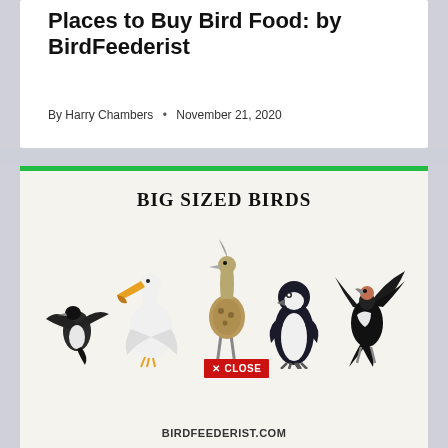Places to Buy Bird Food: by BirdFeederist
By Harry Chambers • November 21, 2020
[Figure (illustration): Advertisement banner with green top and bottom borders on a cream background. Title 'BIG SIZED BIRDS' in bold serif font. Five large bird illustrations in a row: a flying albatross-type bird, a white pelican, a large brown bustard/crane, a penguin, and a black eagle/condor with spread wings. A red 'X CLOSE' button overlays the center. At the bottom: 'BIRDFEEDERIST.COM' in bold.]